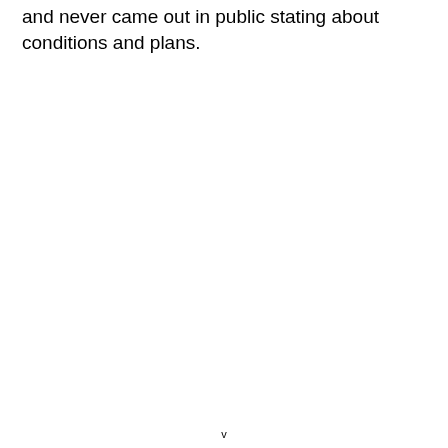and never came out in public stating about conditions and plans.
v